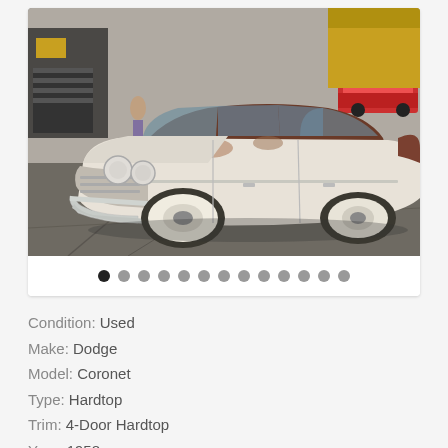[Figure (photo): A vintage white/cream Dodge Coronet 4-door hardtop car parked in a lot. The car shows signs of wear and rust. It faces the camera slightly from the front-left angle. The background shows buildings and other parked cars.]
Condition: Used
Make: Dodge
Model: Coronet
Type: Hardtop
Trim: 4-Door Hardtop
Year: 1958